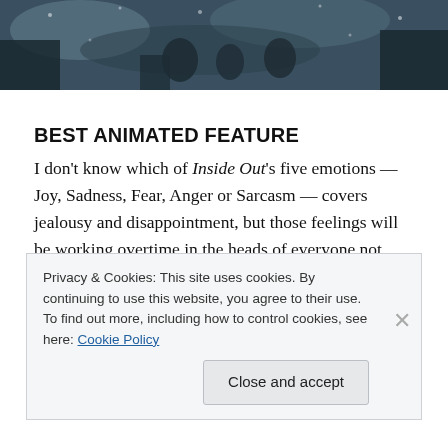[Figure (photo): Dark film still showing figures in a snowy or wintry outdoor scene, cropped at top of page]
BEST ANIMATED FEATURE
I don't know which of Inside Out's five emotions — Joy, Sadness, Fear, Anger or Sarcasm — covers jealousy and disappointment, but those feelings will be working overtime in the heads of everyone not nominated for Inside Out. In one of the night's few slam dunks, Pixar will celebrate its eighth win since this category's inception 15
Privacy & Cookies: This site uses cookies. By continuing to use this website, you agree to their use.
To find out more, including how to control cookies, see here: Cookie Policy
Close and accept